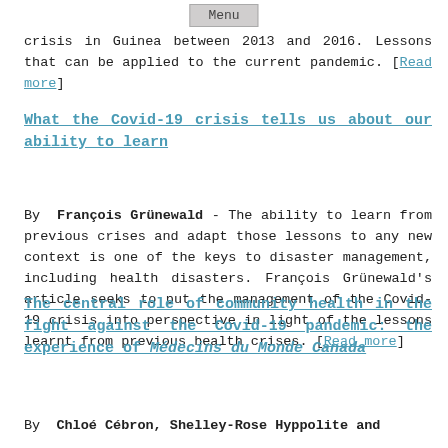Menu
crisis in Guinea between 2013 and 2016. Lessons that can be applied to the current pandemic. [Read more]
What the Covid-19 crisis tells us about our ability to learn
By François Grünewald - The ability to learn from previous crises and adapt those lessons to any new context is one of the keys to disaster management, including health disasters. François Grünewald's article seeks to put the management of the Covid-19 crisis into perspective in light of the lessons learnt from previous health crises. [Read more]
The central role of community health in the fight against the Covid-19 pandemic: the experience of Médecins du Monde Canada
By  Chloé Cébron, Shelley-Rose Hyppolite and